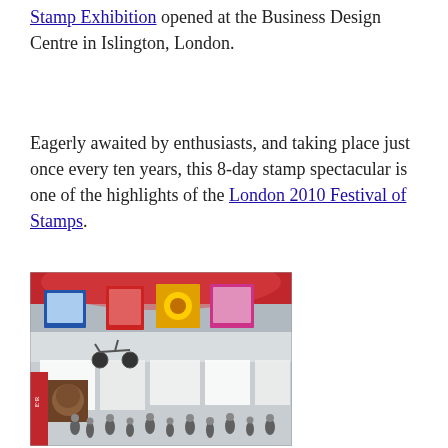Stamp Exhibition opened at the Business Design Centre in Islington, London.
Eagerly awaited by enthusiasts, and taking place just once every ten years, this 8-day stamp spectacular is one of the highlights of the London 2010 Festival of Stamps.
[Figure (photo): Interior of a large exhibition hall decorated with large colorful stamps hanging from the ceiling, showing exhibition booths and visitors browsing below, with prominent red banners and large stamp reproductions including one with a sunflower and another with a queen's portrait.]